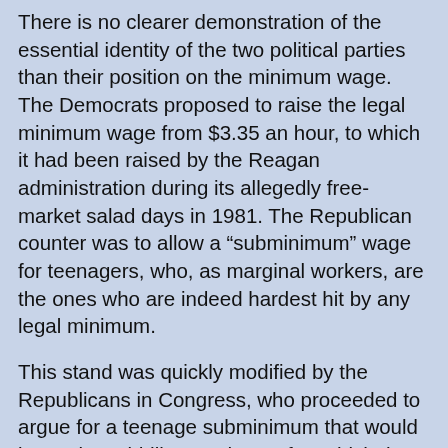There is no clearer demonstration of the essential identity of the two political parties than their position on the minimum wage. The Democrats proposed to raise the legal minimum wage from $3.35 an hour, to which it had been raised by the Reagan administration during its allegedly free-market salad days in 1981. The Republican counter was to allow a “subminimum” wage for teenagers, who, as marginal workers, are the ones who are indeed hardest hit by any legal minimum.
This stand was quickly modified by the Republicans in Congress, who proceeded to argue for a teenage subminimum that would last only a piddling 90 days, after which the rate would rise to the higher Democratic minimum (of $4.55 an hour.) It was left, ironically enough, for Senator Edward Kennedy to point out the ludicrous economic effect of this proposal: to induce employers to hire teenagers and then fire them after 89 days, to rehire others the day after.
Finally, and characteristically, George Bush got the Republicans out of this hole by throwing in the towel altogether, and plumping for a Democratic plan, period. We were left with the Democrats forthrightly proposing a big